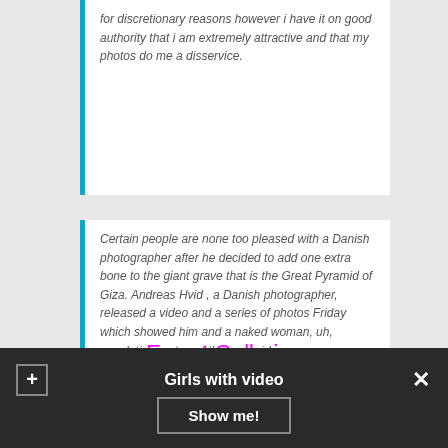for discretionary reasons however i have it on good authority that i am extremely attractive and that my photos do me a disservice.
Certain people are none too pleased with a Danish photographer after he decided to add one extra bone to the giant grave that is the Great Pyramid of Giza. Andreas Hvid , a Danish photographer, released a video and a series of photos Friday which showed him and a naked woman, uh, copulating on top of the pyramid.
Escort Galleries
Girls with video
Show me!